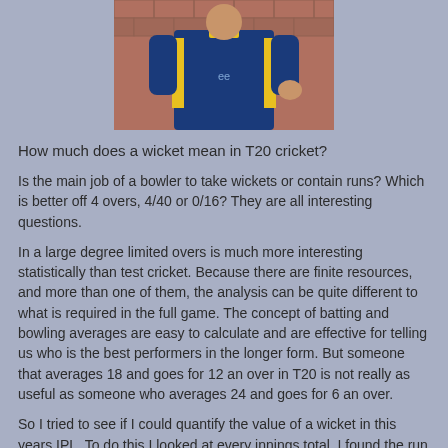[Figure (photo): A person wearing a blue and yellow cricket/sports uniform, photographed from behind/side, with a brick wall in the background]
How much does a wicket mean in T20 cricket?
Is the main job of a bowler to take wickets or contain runs? Which is better off 4 overs, 4/40 or 0/16? They are all interesting questions.
In a large degree limited overs is much more interesting statistically than test cricket. Because there are finite resources, and more than one of them, the analysis can be quite different to what is required in the full game. The concept of batting and bowling averages are easy to calculate and are effective for telling us who is the best performers in the longer form. But someone that averages 18 and goes for 12 an over in T20 is not really as useful as someone who averages 24 and goes for 6 an over.
So I tried to see if I could quantify the value of a wicket in this years IPL. To do this I looked at every innings total. I found the run rate (using 20 overs for any team that was bowled...